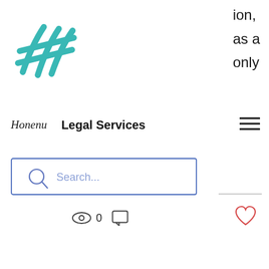[Figure (logo): Teal/turquoise stylized checkmark or wave logo mark in top left corner]
ion,
as a
only
Honenu   Legal Services
[Figure (other): Hamburger menu icon (three horizontal lines) in top right of nav area]
[Figure (other): Search bar with magnifying glass icon and placeholder text 'Search...' with blue border]
[Figure (other): Gray horizontal line (divider) on right side]
[Figure (other): Eye icon with '0' count and speech bubble / comment icon below search bar]
[Figure (other): Red/coral heart (like/favorite) icon on right side]
[Figure (other): Carousel pagination dots: white dot, black dot (active), gray dot]